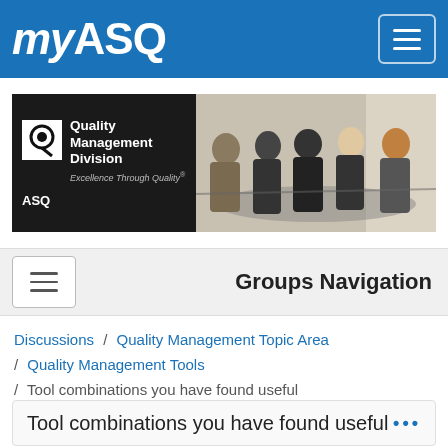myASQ
[Figure (logo): ASQ Quality Management Division banner with logo and meeting photo]
Groups Navigation
Discussions / Quality Management Topic Area / Quality Management Tools / Tool combinations you have found useful
Tool combinations you have found useful